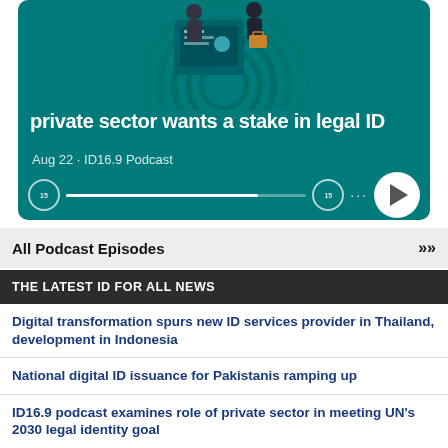[Figure (screenshot): Podcast player card with teal background showing illustration of digital identity and podcast episode title 'private sector wants a stake in legal ID', Aug 22, ID16.9 Podcast, with playback controls]
All Podcast Episodes >>>
THE LATEST ID FOR ALL NEWS
Digital transformation spurs new ID services provider in Thailand, development in Indonesia
National digital ID issuance for Pakistanis ramping up
ID16.9 podcast examines role of private sector in meeting UN's 2030 legal identity goal
Biometric ID, prison programs questioned at federal, state levels in